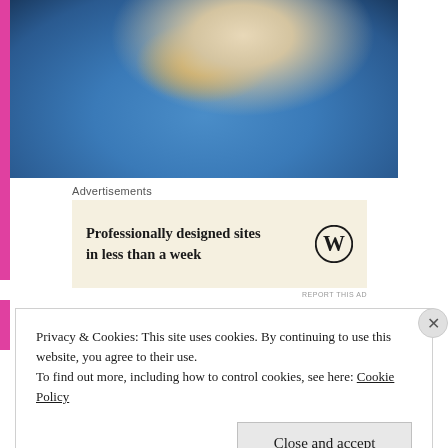[Figure (photo): Close-up photo of a blue fabric item (possibly socks or clothing) with a yellow/gold stripe, held by a hand, against a dark background.]
Advertisements
[Figure (screenshot): WordPress advertisement banner with cream background. Text reads: 'Professionally designed sites in less than a week' with WordPress logo (W in circle).]
REPORT THIS AD
Privacy & Cookies: This site uses cookies. By continuing to use this website, you agree to their use.
To find out more, including how to control cookies, see here: Cookie Policy
Close and accept